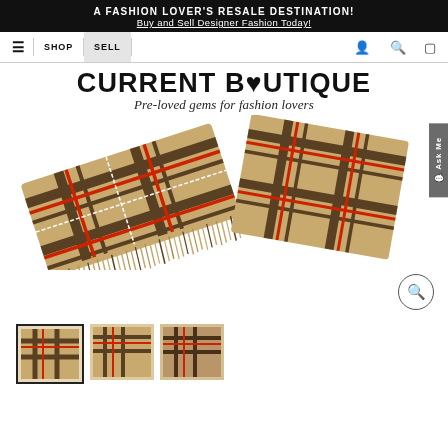A FASHION LOVER'S RESALE DESTINATION! Buy and Sell Designer Fashion Today!
SHOP | SELL | [icons]
[Figure (logo): Current Boutique logo with heart icon and tagline 'Pre-loved gems for fashion lovers']
[Figure (photo): Burberry classic check cashmere scarf in vintage beige shown flat and folded, two overlapping views]
[Figure (photo): Three thumbnail images of the Burberry scarf product from different angles]